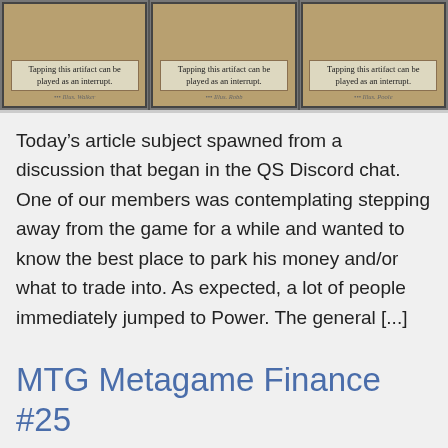[Figure (photo): Three Magic: The Gathering card images side by side, each showing text 'Tapping this artifact can be played as an interrupt.' with decorative card borders.]
Today’s article subject spawned from a discussion that began in the QS Discord chat. One of our members was contemplating stepping away from the game for a while and wanted to know the best place to park his money and/or what to trade into. As expected, a lot of people immediately jumped to Power. The general [...]
MTG Metagame Finance #25
Posted on December 25, 2018 by Edward Eng
[Figure (photo): Dark photograph showing a fantasy creature or demon with purple wings/horns, partially visible at the bottom of the page.]